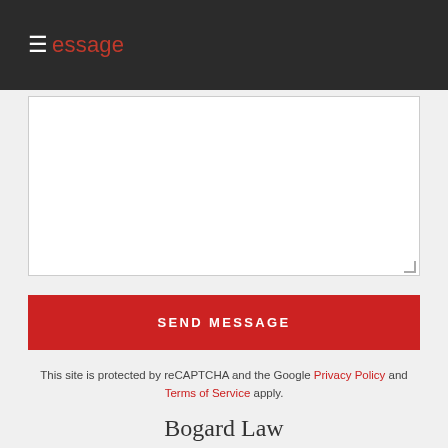≡essage
[Figure (screenshot): Empty textarea input field for message entry]
SEND MESSAGE
This site is protected by reCAPTCHA and the Google Privacy Policy and Terms of Service apply.
Bogard Law